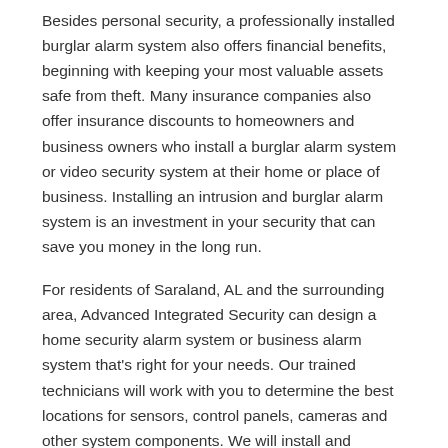Besides personal security, a professionally installed burglar alarm system also offers financial benefits, beginning with keeping your most valuable assets safe from theft. Many insurance companies also offer insurance discounts to homeowners and business owners who install a burglar alarm system or video security system at their home or place of business. Installing an intrusion and burglar alarm system is an investment in your security that can save you money in the long run.
For residents of Saraland, AL and the surrounding area, Advanced Integrated Security can design a home security alarm system or business alarm system that’s right for your needs. Our trained technicians will work with you to determine the best locations for sensors, control panels, cameras and other system components. We will install and configure everything for you, working